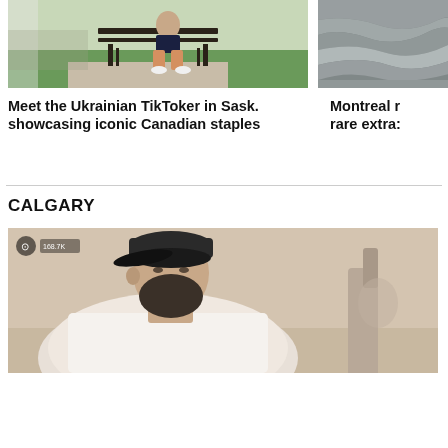[Figure (photo): Person sitting on a park bench outdoors, green grass in background]
[Figure (photo): Water surface or rock with water, partial view clipped on right]
Meet the Ukrainian TikToker in Sask. showcasing iconic Canadian staples
Montreal r... rare extra...
CALGARY
[Figure (photo): Bearded man in white tank top and dark cap, appears to be in a gym or indoor setting, TikTok-style video screenshot]